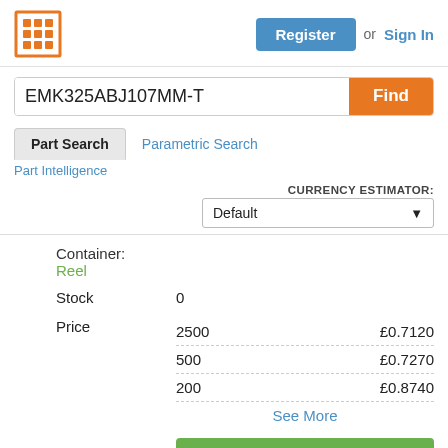[Figure (logo): Orange grid/lattice logo icon with border]
Register  or  Sign In
EMK325ABJ107MM-T
Find
Part Search
Parametric Search
Part Intelligence
CURRENCY ESTIMATOR:
Default
Container:
Reel
Stock	0
| Qty | Price |
| --- | --- |
| 2500 | £0.7120 |
| 500 | £0.7270 |
| 200 | £0.8740 |
See More
Buy	Buy Now